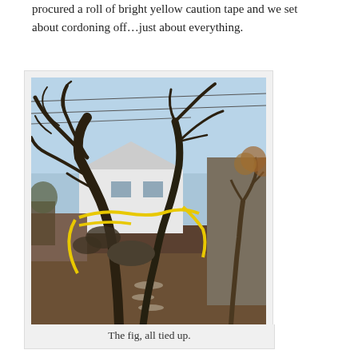procured a roll of bright yellow caution tape and we set about cordoning off…just about everything.
[Figure (photo): A fig tree with bare, twisted branches wrapped with bright yellow caution tape, set in a backyard with a wooden fence, a white house, power lines, and another bare tree visible in the background. The ground is covered with mulch and stones.]
The fig, all tied up.